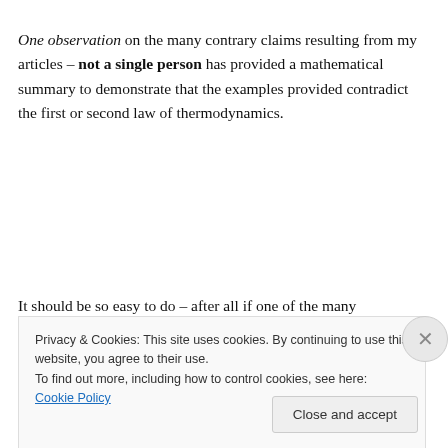One observation on the many contrary claims resulting from my articles – not a single person has provided a mathematical summary to demonstrate that the examples provided contradict the first or second law of thermodynamics.
It should be so easy to do – after all if one of the many
Privacy & Cookies: This site uses cookies. By continuing to use this website, you agree to their use.
To find out more, including how to control cookies, see here: Cookie Policy
Close and accept